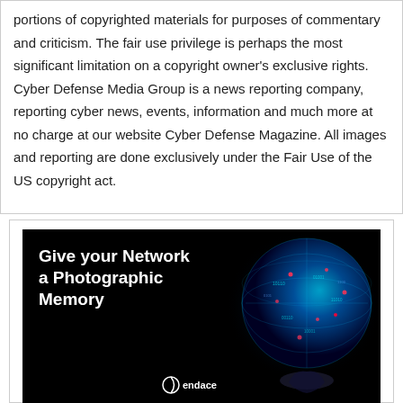portions of copyrighted materials for purposes of commentary and criticism. The fair use privilege is perhaps the most significant limitation on a copyright owner's exclusive rights. Cyber Defense Media Group is a news reporting company, reporting cyber news, events, information and much more at no charge at our website Cyber Defense Magazine. All images and reporting are done exclusively under the Fair Use of the US copyright act.
[Figure (illustration): Advertisement with dark background showing bold white text 'Give your Network a Photographic Memory' alongside a glowing digital globe with binary/data visual, and Endace logo at the bottom.]